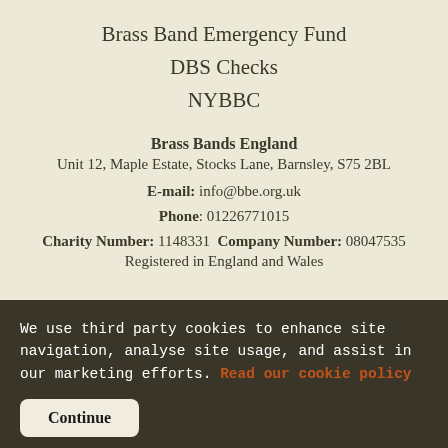Brass Band Emergency Fund
DBS Checks
NYBBC
Brass Bands England
Unit 12, Maple Estate, Stocks Lane, Barnsley, S75 2BL
E-mail: info@bbe.org.uk
Phone: 01226771015
Charity Number: 1148331  Company Number: 08047535
Registered in England and Wales
We use third party cookies to enhance site navigation, analyse site usage, and assist in our marketing efforts. Read our cookie policy
Continue